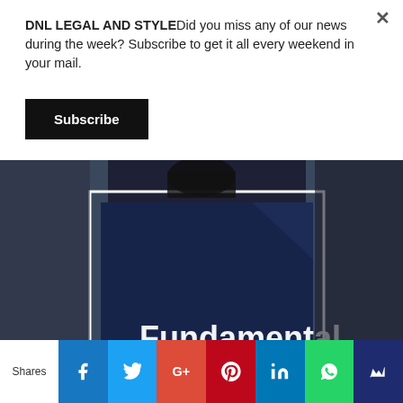DNL LEGAL AND STYLEDid you miss any of our news during the week? Subscribe to get it all every weekend in your mail.
Subscribe
[Figure (photo): Person in dark suit holding a dark blue document/book with white border frame; text 'Fundamental' visible in white bold font at bottom of image]
Shares